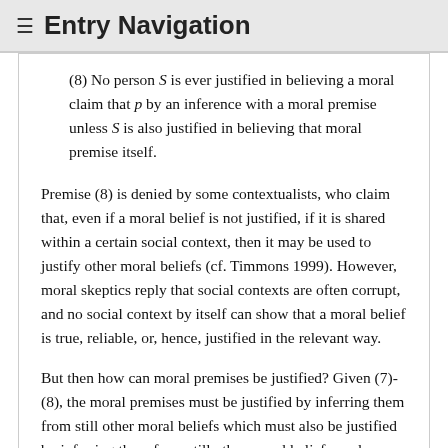≡ Entry Navigation
(8) No person S is ever justified in believing a moral claim that p by an inference with a moral premise unless S is also justified in believing that moral premise itself.
Premise (8) is denied by some contextualists, who claim that, even if a moral belief is not justified, if it is shared within a certain social context, then it may be used to justify other moral beliefs (cf. Timmons 1999). However, moral skeptics reply that social contexts are often corrupt, and no social context by itself can show that a moral belief is true, reliable, or, hence, justified in the relevant way.
But then how can moral premises be justified? Given (7)-(8), the moral premises must be justified by inferring them from still other moral beliefs which must also be justified by inferring them from still other moral beliefs, and so on. To justify a moral belief thus requires a chain (a long chain) of justifying beliefs going...